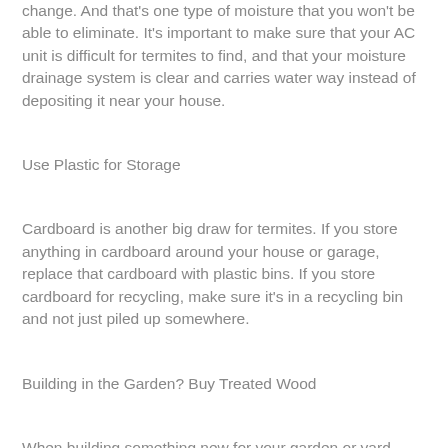change. And that's one type of moisture that you won't be able to eliminate. It's important to make sure that your AC unit is difficult for termites to find, and that your moisture drainage system is clear and carries water way instead of depositing it near your house.
Use Plastic for Storage
Cardboard is another big draw for termites. If you store anything in cardboard around your house or garage, replace that cardboard with plastic bins. If you store cardboard for recycling, make sure it's in a recycling bin and not just piled up somewhere.
Building in the Garden? Buy Treated Wood
When building something new for your garden or yard, remember to use pressure-treated wood to help prevent